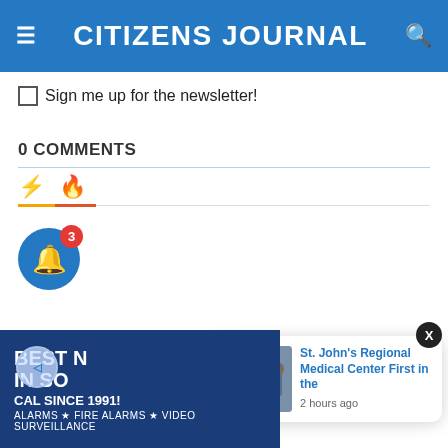CITIZENS JOURNAL
Sign me up for the newsletter!
0 COMMENTS
[Figure (screenshot): Comment section tabs with bolt and fire icons]
[Figure (screenshot): Blue bell notification icon with red badge showing 3]
[Figure (screenshot): Notification popup: St. John's Regional Medical Center First in the, 2 hours ago]
[Figure (screenshot): Ad banner: BEST N... IN SO CAL SINCE 1991! Alarms Fire Alarms Video Surveillance]